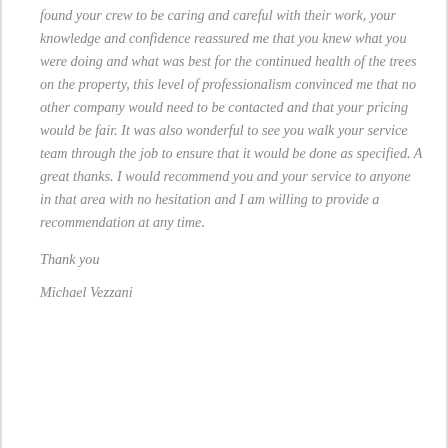found your crew to be caring and careful with their work, your knowledge and confidence reassured me that you knew what you were doing and what was best for the continued health of the trees on the property, this level of professionalism convinced me that no other company would need to be contacted and that your pricing would be fair. It was also wonderful to see you walk your service team through the job to ensure that it would be done as specified. A great thanks. I would recommend you and your service to anyone in that area with no hesitation and I am willing to provide a recommendation at any time.
Thank you
Michael Vezzani